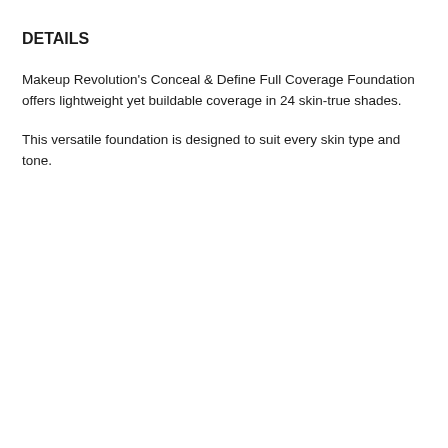DETAILS
Makeup Revolution's Conceal & Define Full Coverage Foundation offers lightweight yet buildable coverage in 24 skin-true shades.
This versatile foundation is designed to suit every skin type and tone.